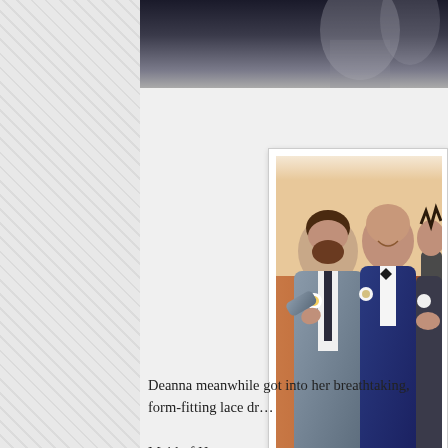[Figure (photo): Partial top photo showing blurred figures in dark/muted tones, likely groomsmen or wedding party in the background]
[Figure (photo): Wedding photo in a white-bordered frame showing three men in suits/tuxedos. Left man in grey suit smiles while looking down at boutonniere, center man in navy tuxedo with bow tie smiles broadly, right man partially visible helping pin boutonniere. Warm orange/wood-paneled room background. Small watermark reads 'JUDY B & CO' at bottom.]
Deanna meanwhile got into her breathtaking, form-fitting lace dr... Maid of Honor…